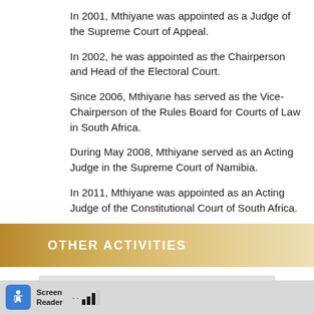In 2001, Mthiyane was appointed as a Judge of the Supreme Court of Appeal.
In 2002, he was appointed as the Chairperson and Head of the Electoral Court.
Since 2006, Mthiyane has served as the Vice-Chairperson of the Rules Board for Courts of Law in South Africa.
During May 2008, Mthiyane served as an Acting Judge in the Supreme Court of Namibia.
In 2011, Mthiyane was appointed as an Acting Judge of the Constitutional Court of South Africa.
OTHER ACTIVITIES
Mthiyane has served as the chairperson of the Durban branch of the National Association of Democratic Lawyers.
Screen Reader